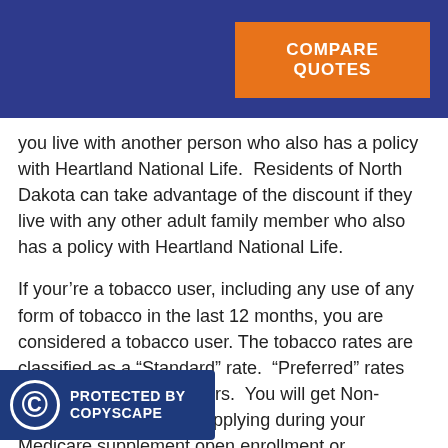COMPARE QUOTES
you live with another person who also has a policy with Heartland National Life.  Residents of North Dakota can take advantage of the discount if they live with any other adult family member who also has a policy with Heartland National Life.
If your’re a tobacco user, including any use of any form of tobacco in the last 12 months, you are considered a tobacco user. The tobacco rates are classified as a “Standard” rate.  “Preferred” rates are for Non-Tobacco users.  You will get Non-Tobacco rates if you’re applying during your Medicare supplement open enrollment or period in several states. These states a, New Mexico, Maryland, North